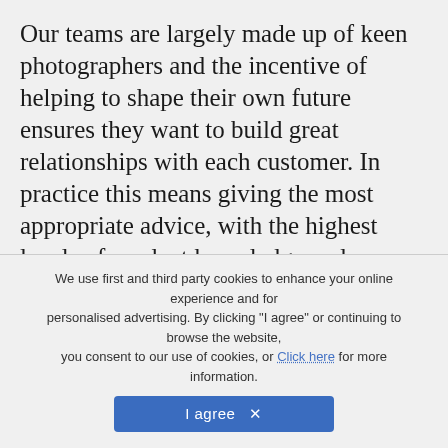Our teams are largely made up of keen photographers and the incentive of helping to shape their own future ensures they want to build great relationships with each customer. In practice this means giving the most appropriate advice, with the highest levels of product knowledge and some friendly banter from like-minded people thrown in. It shows too as the reviews which customers leave us remain extremely positive, with customers enjoying not just the equipment they purchase at the best prices, but the interaction with happy and motivated staff. That goes for everyone from the busy call centre in our head office to both stores where the teams serve customers face to face.
We use first and third party cookies to enhance your online experience and for personalised advertising. By clicking "I agree" or continuing to browse the website, you consent to our use of cookies, or Click here for more information. I agree ✕